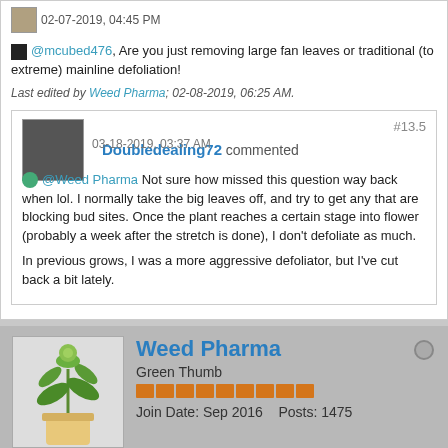02-07-2019, 04:45 PM
@mcubed476, Are you just removing large fan leaves or traditional (to extreme) mainline defoliation!
Last edited by Weed Pharma; 02-08-2019, 06:25 AM.
Doubledealing72 commented #13.5
03-18-2019, 03:37 AM
@Weed Pharma Not sure how missed this question way back when lol. I normally take the big leaves off, and try to get any that are blocking bud sites. Once the plant reaches a certain stage into flower (probably a week after the stretch is done), I don't defoliate as much.

In previous grows, I was a more aggressive defoliator, but I've cut back a bit lately.
Weed Pharma
Green Thumb
Join Date: Sep 2016    Posts: 1475
02-07-2019, 08:19 AM   #14
"Botanical Bondage", I'm in!